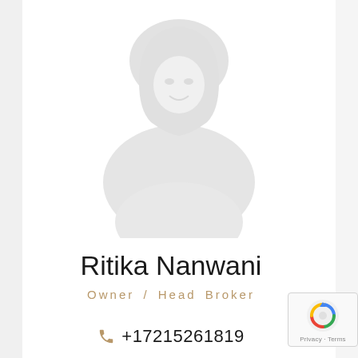[Figure (photo): Faded/ghosted profile photo of a person (Ritika Nanwani) with very light, washed-out appearance against white background]
Ritika Nanwani
Owner / Head Broker
+17215261819